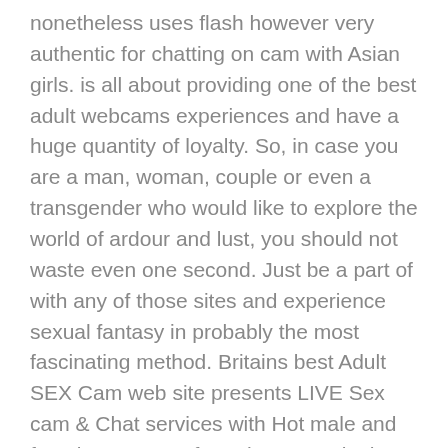nonetheless uses flash however very authentic for chatting on cam with Asian girls. is all about providing one of the best adult webcams experiences and have a huge quantity of loyalty. So, in case you are a man, woman, couple or even a transgender who would like to explore the world of ardour and lust, you should not waste even one second. Just be a part of with any of those sites and experience sexual fantasy in probably the most fascinating method. Britains best Adult SEX Cam web site presents LIVE Sex cam & Chat services with Hot male and female Amateurs from the UK and other international locations. Most webcam models request a token amount to carry out sure sex associated duties corresponding to Titty flash, Ass flash, Sex Toy play, anal and vaginal masturbations, squirting or straight up penetration with a sex associate. Watching stay exhibits on-line that includes hot strippers from around your space is doubtless one of the most thrilling issues we will expertise on this modern-day and age.